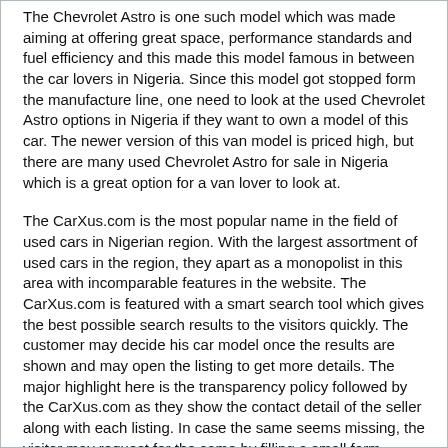The Chevrolet Astro is one such model which was made aiming at offering great space, performance standards and fuel efficiency and this made this model famous in between the car lovers in Nigeria. Since this model got stopped form the manufacture line, one need to look at the used Chevrolet Astro options in Nigeria if they want to own a model of this car. The newer version of this van model is priced high, but there are many used Chevrolet Astro for sale in Nigeria which is a great option for a van lover to look at.
The CarXus.com is the most popular name in the field of used cars in Nigerian region. With the largest assortment of used cars in the region, they apart as a monopolist in this area with incomparable features in the website. The CarXus.com is featured with a smart search tool which gives the best possible search results to the visitors quickly. The customer may decide his car model once the results are shown and may open the listing to get more details. The major highlight here is the transparency policy followed by the CarXus.com as they show the contact detail of the seller along with each listing. In case the same seems missing, the visitor may request for the same by filling a small form.